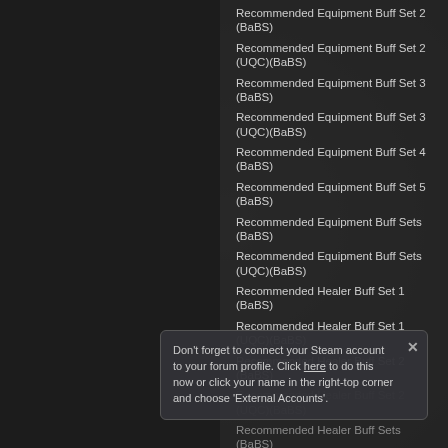Recommended Equipment Buff Set 2 (BaBS)
Recommended Equipment Buff Set 2 (UQC)(BaBS)
Recommended Equipment Buff Set 3 (BaBS)
Recommended Equipment Buff Set 3 (UQC)(BaBS)
Recommended Equipment Buff Set 4 (BaBS)
Recommended Equipment Buff Set 5 (BaBS)
Recommended Equipment Buff Sets (BaBS)
Recommended Equipment Buff Sets (UQC)(BaBS)
Recommended Healer Buff Set 1 (BaBS)
Recommended Healer Buff Set 1 (UQC)(BaBS)
Recommended Healer Buff Set 2 (BaBS)
Recommended Healer Buff Set 2 (UQC)(BaBS)
Recommended Healer Buff Sets (BaBS)
Recommended Healer Buff Sets (UQC)(BaBS)
Don't forget to connect your Steam account to your forum profile. Click here to do this now or click your name in the right-top corner and choose 'External Accounts'.